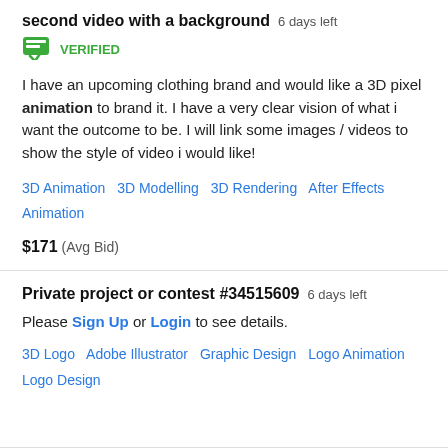second video with a background  6 days left
[Figure (other): Green verified badge icon with checkmark]
VERIFIED
I have an upcoming clothing brand and would like a 3D pixel animation to brand it. I have a very clear vision of what i want the outcome to be. I will link some images / videos to show the style of video i would like!
3D Animation   3D Modelling   3D Rendering   After Effects   Animation
$171  (Avg Bid)
Private project or contest #34515609   6 days left
Please Sign Up or Login to see details.
3D Logo   Adobe Illustrator   Graphic Design   Logo Animation   Logo Design